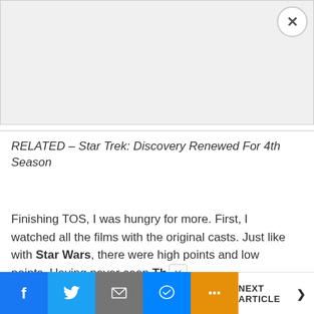[Figure (other): Advertisement placeholder box with close (X) button in top-right corner]
RELATED – Star Trek: Discovery Renewed For 4th Season
Finishing TOS, I was hungry for more. First, I watched all the films with the original casts. Just like with Star Wars, there were high points and low points. Having never seen Th
[Figure (other): Social sharing bottom bar with Facebook, Twitter, Email, Messenger, More buttons and NEXT ARTICLE link]